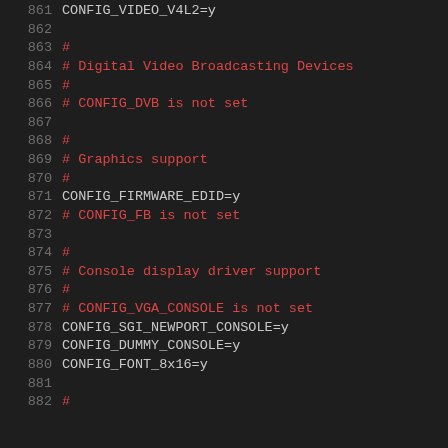861  CONFIG_VIDEO_V4L2=y
862
863  #
864  # Digital Video Broadcasting Devices
865  #
866  # CONFIG_DVB is not set
867
868  #
869  # Graphics support
870  #
871  CONFIG_FIRMWARE_EDID=y
872  # CONFIG_FB is not set
873
874  #
875  # Console display driver support
876  #
877  # CONFIG_VGA_CONSOLE is not set
878  CONFIG_SGI_NEWPORT_CONSOLE=y
879  CONFIG_DUMMY_CONSOLE=y
880  CONFIG_FONT_8x16=y
881
882  #